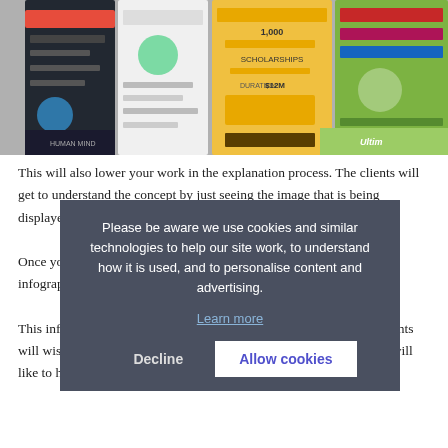[Figure (photo): A collection of colorful infographic posters displayed at an angle, showing various infographic styles with charts, icons, text and data visualizations in yellow, teal, dark, and green color schemes.]
This will also lower your work in the explanation process. The clients will get to understand the concept by just seeing the image that is being displayed.
Once you understand that, you will get to sense about the power of infographics on the business side.
This infographic should not be in all the places because not all the clients will wish to have the pasteurized format and also some of the people will like to have the formal one so you have to move every